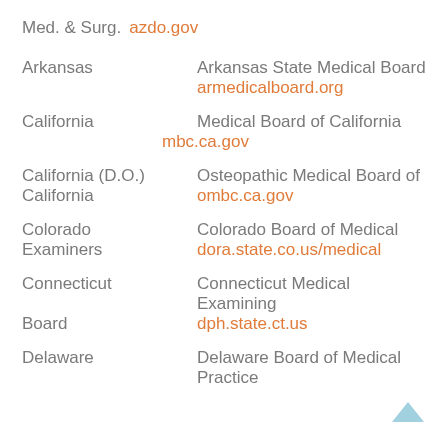Med. & Surg. azdo.gov
Arkansas   Arkansas State Medical Board   armedicalboard.org
California   Medical Board of California   mbc.ca.gov
California (D.O.)   Osteopathic Medical Board of California   ombc.ca.gov
Colorado   Colorado Board of Medical Examiners   dora.state.co.us/medical
Connecticut   Connecticut Medical Examining Board   dph.state.ct.us
Delaware   Delaware Board of Medical Practice